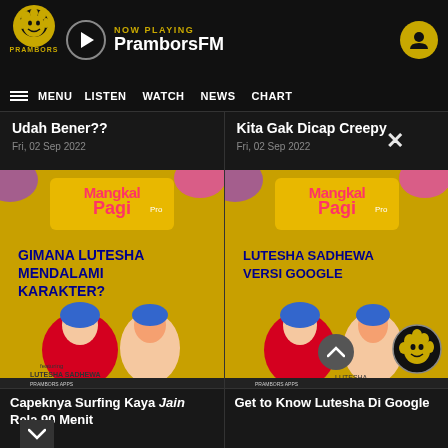NOW PLAYING PramborsFM
MENU  LISTEN  WATCH  NEWS  CHART
Udah Bener??
Fri, 02 Sep 2022
Kita Gak Dicap Creepy
Fri, 02 Sep 2022
[Figure (screenshot): Mangkal Pagi show thumbnail with text 'Gimana Lutesha Mendalami Karakter?' on yellow background with characters]
[Figure (screenshot): Mangkal Pagi show thumbnail with text 'Lutesha Sadhewa Versi Google' on yellow background with characters]
Capeknya Surfing Kaya Jain Rela 90 Menit
Get to Know Lutesha Di Google